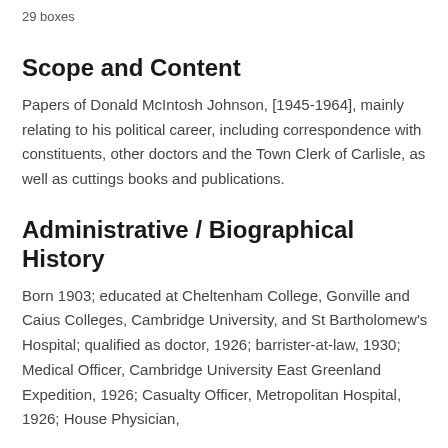29 boxes
Scope and Content
Papers of Donald McIntosh Johnson, [1945-1964], mainly relating to his political career, including correspondence with constituents, other doctors and the Town Clerk of Carlisle, as well as cuttings books and publications.
Administrative / Biographical History
Born 1903; educated at Cheltenham College, Gonville and Caius Colleges, Cambridge University, and St Bartholomew's Hospital; qualified as doctor, 1926; barrister-at-law, 1930; Medical Officer, Cambridge University East Greenland Expedition, 1926; Casualty Officer, Metropolitan Hospital, 1926; House Physician,